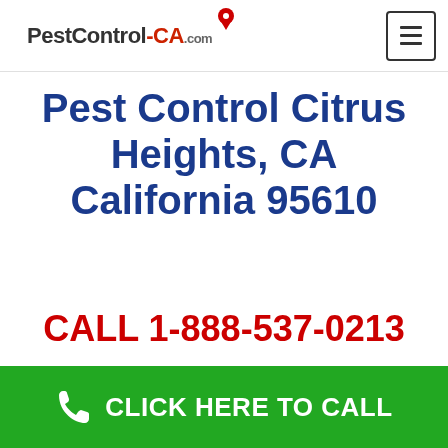PestControl-CA.com
Pest Control Citrus Heights, CA California 95610
CALL 1-888-537-0213
CLICK HERE TO CALL